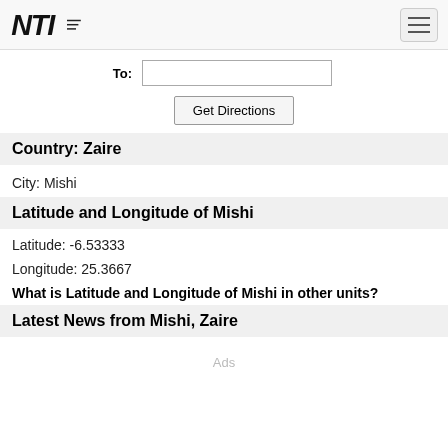NTI logo and navigation menu
To:
Get Directions
Country: Zaire
City: Mishi
Latitude and Longitude of Mishi
Latitude: -6.53333
Longitude: 25.3667
What is Latitude and Longitude of Mishi in other units?
Latest News from Mishi, Zaire
Ads